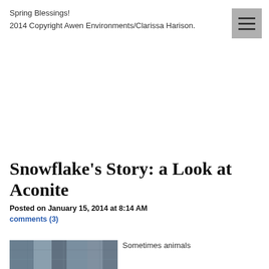Spring Blessings!
2014 Copyright Awen Environments/Clarissa Harison.
Snowflake's Story: a Look at Aconite
Posted on January 15, 2014 at 8:14 AM
comments (3)
[Figure (photo): Thumbnail image of aconite plant with blue/grey tones]
Sometimes animals